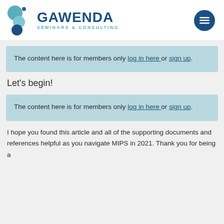Gawenda Seminars & Consulting
The content here is for members only log in here or sign up.
Let's begin!
The content here is for members only log in here or sign up.
I hope you found this article and all of the supporting documents and references helpful as you navigate MIPS in 2021. Thank you for being a